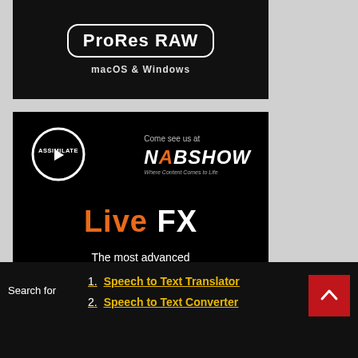[Figure (screenshot): ProRes RAW advertisement banner with dark background. Shows 'ProRes RAW' text in a rounded rectangle badge, with 'macOS & Windows' subtitle below.]
[Figure (screenshot): Assimilate advertisement on black background. Shows Assimilate logo (circle with triangle), 'Come see us at NAB SHOW Where Content Comes to Life', 'Live FX' in large text (Live in orange, FX in white), 'The most advanced Virtual Production Workflow', 'B&H Booth #C10916', and sponsor logos at bottom including B&H, AJA.]
1. Speech to Text Translator
2. Speech to Text Converter
Search for